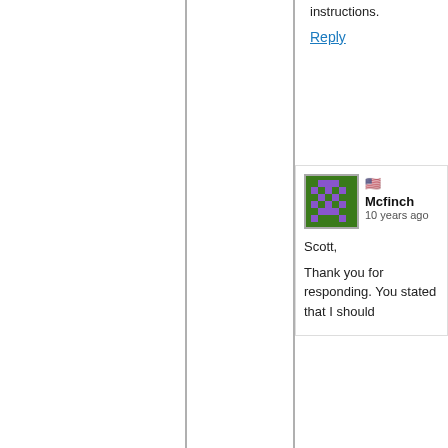instructions.
Reply
[Figure (illustration): Pixel art avatar of user Mcfinch with green and purple colors, with a US flag emoji]
Mcfinch
10 years ago
Scott,

Thank you for responding. You stated that I should